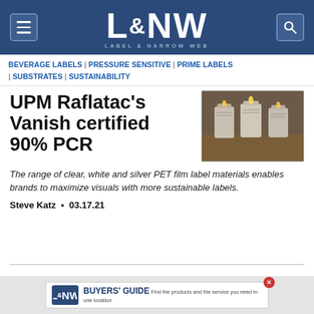L&NW Label & Narrow Web
BEVERAGE LABELS | PRESSURE SENSITIVE | PRIME LABELS | SUBSTRATES | SUSTAINABILITY
[Figure (photo): Three small glass candle jars with labels on a wooden surface, lit candles]
UPM Raflatac’s Vanish certified 90% PCR
The range of clear, white and silver PET film label materials enables brands to maximize visuals with more sustainable labels.
Steve Katz • 03.17.21
[Figure (infographic): L&NW Buyers Guide advertisement banner: Find the products and the service you need in one location]